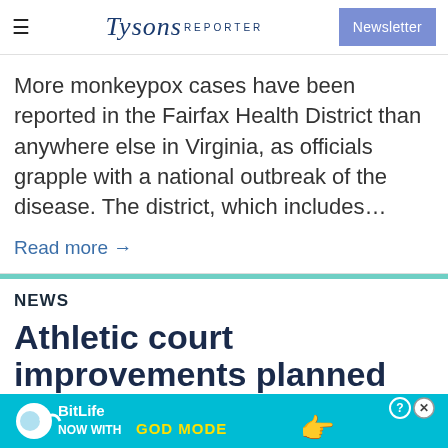Tysons Reporter | Newsletter
More monkeypox cases have been reported in the Fairfax Health District than anywhere else in Virginia, as officials grapple with a national outbreak of the disease. The district, which includes…
Read more →
NEWS
Athletic court improvements planned for Vienna's Cedar Lane School
[Figure (screenshot): BitLife advertisement banner — NOW WITH GOD MODE, with cartoon hand pointing, on bright blue background, with close/help buttons]